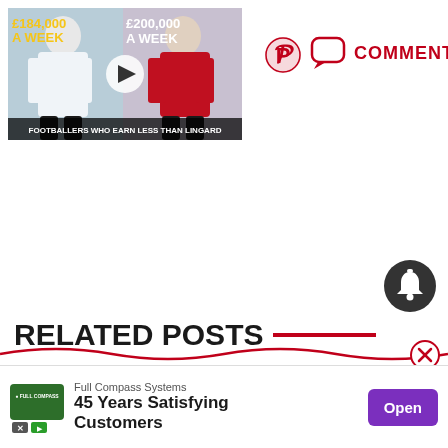[Figure (screenshot): Video thumbnail showing two footballers side by side with text '£184,000 A WEEK' and '£200,000 A WEEK', titled 'FOOTBALLERS WHO EARN LESS THAN LINGARD']
[Figure (logo): Pinterest logo icon in dark red/crimson]
COMMENTS
RELATED POSTS
[Figure (other): Bell notification icon (dark grey circle with white bell)]
[Figure (other): Close/dismiss button (red circle with X)]
[Figure (other): Advertisement banner: Full Compass Systems logo, '45 Years Satisfying Customers', Open button]